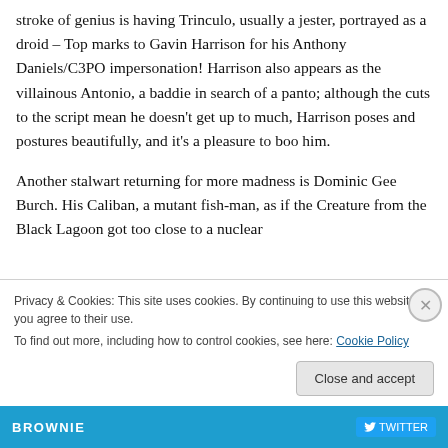stroke of genius is having Trinculo, usually a jester, portrayed as a droid – Top marks to Gavin Harrison for his Anthony Daniels/C3PO impersonation!  Harrison also appears as the villainous Antonio, a baddie in search of a panto; although the cuts to the script mean he doesn't get up to much, Harrison poses and postures beautifully, and it's a pleasure to boo him.
Another stalwart returning for more madness is Dominic Gee Burch.  His Caliban, a mutant fish-man, as if the Creature from the Black Lagoon got too close to a nuclear
Privacy & Cookies: This site uses cookies. By continuing to use this website, you agree to their use.
To find out more, including how to control cookies, see here: Cookie Policy